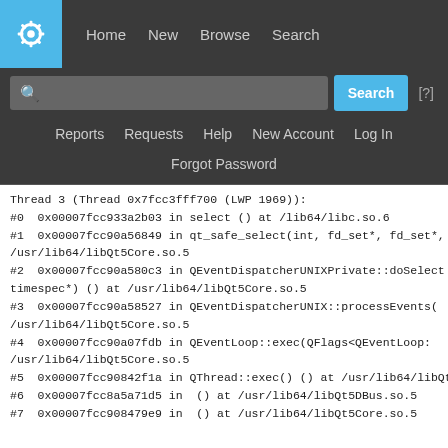KDE logo | Home | New | Browse | Search
Search bar | Search | [?]
Reports | Requests | Help | New Account | Log In
Forgot Password
Thread 3 (Thread 0x7fcc3fff700 (LWP 1969)):
#0  0x00007fcc933a2b03 in select () at /lib64/libc.so.6
#1  0x00007fcc90a56849 in qt_safe_select(int, fd_set*, fd_set*, fd_ /usr/lib64/libQt5Core.so.5
#2  0x00007fcc90a580c3 in QEventDispatcherUNIXPrivate::doSelect timespec*) () at /usr/lib64/libQt5Core.so.5
#3  0x00007fcc90a58527 in QEventDispatcherUNIX::processEvents( /usr/lib64/libQt5Core.so.5
#4  0x00007fcc90a07fdb in QEventLoop::exec(QFlags<QEventLoop: /usr/lib64/libQt5Core.so.5
#5  0x00007fcc90842f1a in QThread::exec() () at /usr/lib64/libQt5C
#6  0x00007fcc8a5a71d5 in  () at /usr/lib64/libQt5DBus.so.5
#7  0x00007fcc908479e9 in  () at /usr/lib64/libQt5Core.so.5